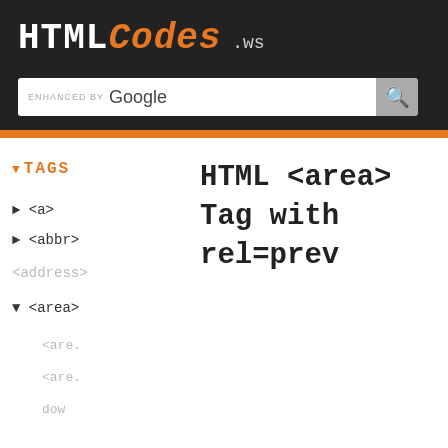HTMLCodes.ws
[Figure (screenshot): Search bar with 'ENHANCED BY Google' text and search icon button]
▼ TAGS
HTML <area> Tag with rel=prev
► <a>
► <abbr>
<address>
▼ <area>
<are.
<are.
dow